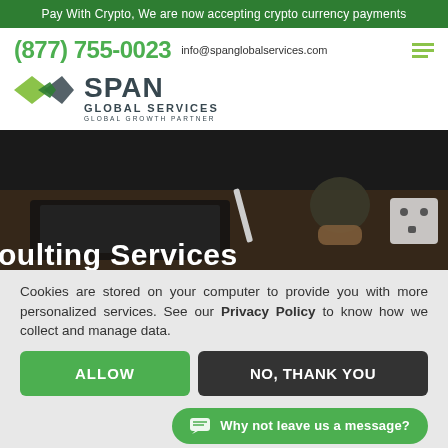Pay With Crypto, We are now accepting crypto currency payments
(877) 755-0023   info@spanglobalservices.com
[Figure (logo): Span Global Services logo with two overlapping diamond shapes in green and a hamburger menu icon]
[Figure (photo): Dark overhead photo of a desk with a laptop, cactus plant, and electrical outlet. Partially visible text reads 'oulting Services']
Cookies are stored on your computer to provide you with more personalized services. See our Privacy Policy to know how we collect and manage data.
ALLOW
NO, THANK YOU
Why not leave us a message?